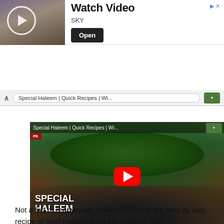[Figure (screenshot): Advertisement banner with Watch Video text, SKY subtitle, Open button, and background image of people]
[Figure (screenshot): YouTube video thumbnail showing Special Haleem dish in a dark pot with greens, YouTube play button overlay, video title bar at top]
[Figure (screenshot): Write a Review green button]
Not a fan of readymade Haleem? Here is the step by step recipe of beef Haleem from the scratch! This